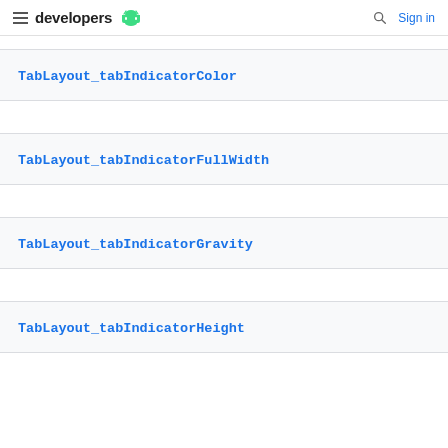developers  Sign in
TabLayout_tabIndicatorColor
TabLayout_tabIndicatorFullWidth
TabLayout_tabIndicatorGravity
TabLayout_tabIndicatorHeight